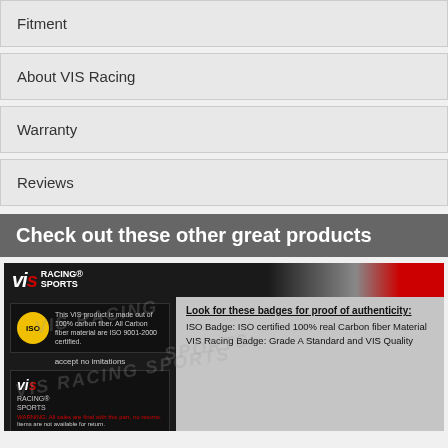Fitment
About VIS Racing
Warranty
Reviews
Check out these other great products
[Figure (illustration): VIS Racing Sports advertisement banner showing ISO badge, accept no imitations text, VIS Racing Sports logo badge, authenticity badge descriptions, and a Need Help Live Chat Online Now bar at the bottom.]